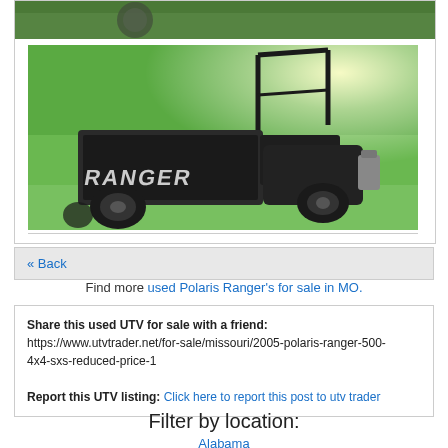[Figure (photo): Partial photo of vehicle/equipment tire and grass at top of page]
[Figure (photo): Polaris Ranger 500 4x4 UTV side view with cargo bed, parked on green grass with sun glare in background]
« Back
Find more used Polaris Ranger's for sale in MO.
Share this used UTV for sale with a friend:
https://www.utvtrader.net/for-sale/missouri/2005-polaris-ranger-500-4x4-sxs-reduced-price-1

Report this UTV listing: Click here to report this post to utv trader
Filter by location:
Alabama